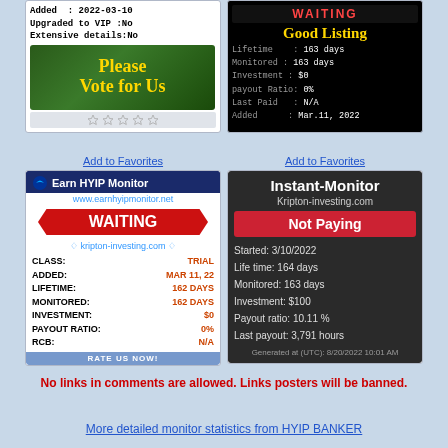[Figure (screenshot): Left top card: Earn HYIP Monitor banner with 'Added: 2022-03-10', 'Upgraded to VIP: No', 'Extensive details: No', 'Please Vote for Us' green banner, and star rating row]
[Figure (screenshot): Right top card: WAITING status, Good Listing, Lifetime: 163 days, Monitored: 163 days, Investment: $0, payout Ratio: 0%, Last Paid: N/A, Added: Mar.11, 2022]
Add to Favorites
[Figure (screenshot): Earn HYIP Monitor card for kripton-investing.com: WAITING status, CLASS: TRIAL, ADDED: MAR 11, 22, LIFETIME: 162 DAYS, MONITORED: 162 DAYS, INVESTMENT: $0, PAYOUT RATIO: 0%, RCB: N/A, RATE US NOW!]
Add to Favorites
[Figure (screenshot): Instant-Monitor card for Kripton-investing.com: Not Paying status, Started: 3/10/2022, Life time: 164 days, Monitored: 163 days, Investment: $100, Payout ratio: 10.11%, Last payout: 3,791 hours, Generated at (UTC): 8/20/2022 10:01 AM]
No links in comments are allowed. Links posters will be banned.
More detailed monitor statistics from HYIP BANKER